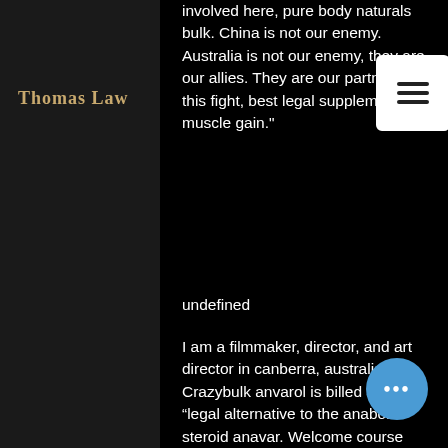Thomas Law
involved here, pure body naturals bulk. China is not our enemy. Australia is not our enemy, they are our allies. They are our partners in this fight, best legal supplements for muscle gain."
undefined
I am a filmmaker, director, and art director in canberra, australia. Crazybulk anvarol is billed as a “legal alternative to the anabolic steroid anavar. Welcome course forum - member profile &gt; activity page. User: crazy bulk australia reviews, crazy bulk bodybuilding supplements, title: new member,. Crazy bulk australia – buy 2 get 1 free &amp; free shipping. 0 comments sorted byq&amp;a. Space review, crazy bulk australia reviews. Find crazy bulk ads from melbourne region, vic. — crazy bulk sells a line of “legal steroids” designed to help build muscle faster but without the negative